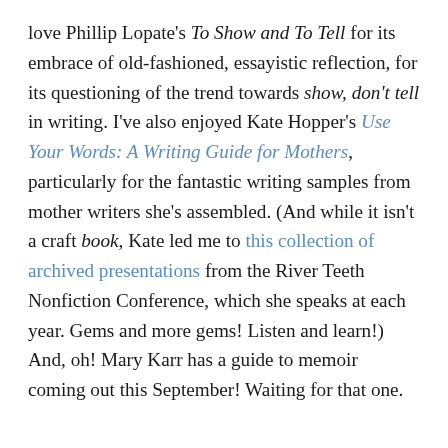love Phillip Lopate's To Show and To Tell for its embrace of old-fashioned, essayistic reflection, for its questioning of the trend towards show, don't tell in writing. I've also enjoyed Kate Hopper's Use Your Words: A Writing Guide for Mothers, particularly for the fantastic writing samples from mother writers she's assembled. (And while it isn't a craft book, Kate led me to this collection of archived presentations from the River Teeth Nonfiction Conference, which she speaks at each year. Gems and more gems! Listen and learn!) And, oh! Mary Karr has a guide to memoir coming out this September! Waiting for that one.